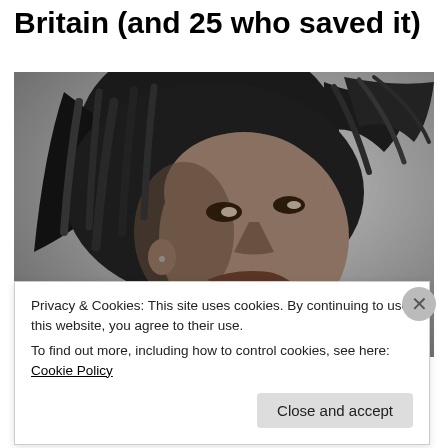Britain (and 25 who saved it)
[Figure (photo): Black and white photograph of Bob Marley smiling with dreadlocks, looking upward]
Privacy & Cookies: This site uses cookies. By continuing to use this website, you agree to their use.
To find out more, including how to control cookies, see here: Cookie Policy
Close and accept